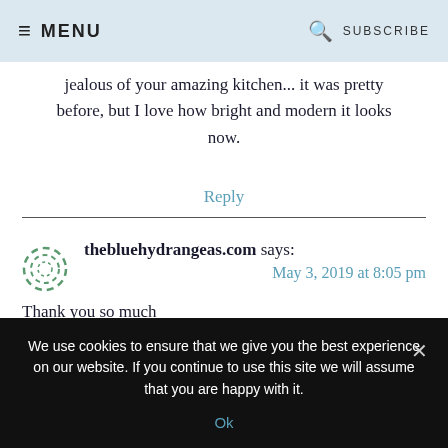MENU  SUBSCRIBE
jealous of your amazing kitchen... It was pretty before, but I love how bright and modern it looks now.
Reply
thebluehydrangeas.com says:
May 3, 2019 at 8:05 pm
Thank you so much
We use cookies to ensure that we give you the best experience on our website. If you continue to use this site we will assume that you are happy with it.
Ok